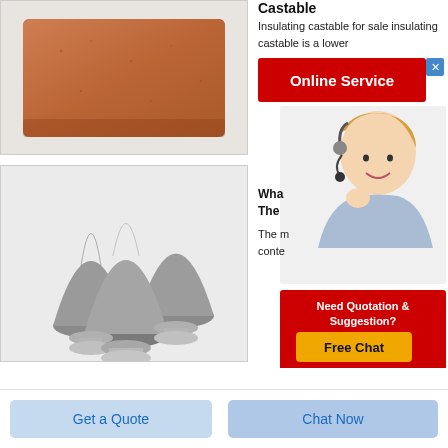[Figure (photo): A rectangular orange/terracotta colored insulating castable brick on a white background]
[Figure (photo): Three grey conical powder/granule mounds on white pedestals, arranged in a triangular formation]
Castable
Insulating castable for sale insulating castable is a lower
[Figure (screenshot): Online Service button (red) with a customer service representative photo and a 'Need Quotation & Suggestion? Free Chat' popup overlay]
Wha
The
The m
conte
Get a Quote
Chat Now